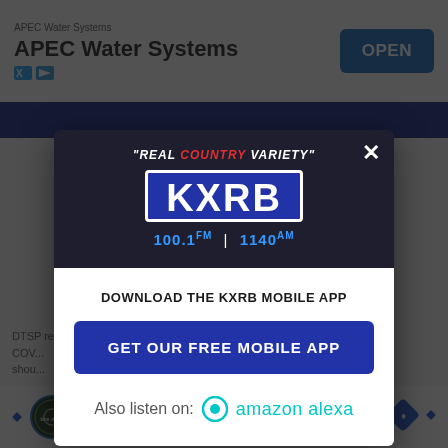[Figure (screenshot): Mobile webpage screenshot showing a KXRB radio station app download modal popup over a news article page. The modal has a dark header with KXRB logo and 'Real Country Variety' tagline with 100.1 FM / 1140 AM frequencies, a white lower section with 'DOWNLOAD THE KXRB MOBILE APP' text, a blue 'GET OUR FREE MOBILE APP' button, and 'Also listen on: amazon alexa' text. An APEC Water Systems ad is at the top and a Goodyear Summer Savings ad is at the bottom.]